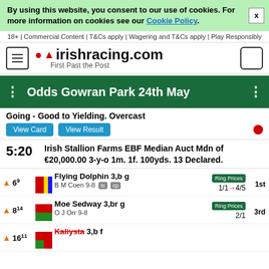By using this website, you consent to our use of cookies. For more information on cookies see our Cookie Policy.
18+ | Commercial Content | T&Cs apply | Wagering and T&Cs apply | Play Responsibly
[Figure (logo): irishracing.com logo with location pin icon and tagline 'First Past the Post']
Odds Gowran Park 24th May
Going - Good to Yielding. Overcast
5:20 Irish Stallion Farms EBF Median Auct Mdn of €20,000.00 3-y-o 1m. 1f. 100yds. 13 Declared.
6^9 Flying Dolphin 3,b g  B M Coen 9-8  1/1→4/5  1st
8^14 Moe Sedway 3,br g  O J Orr 9-8  2/1  3rd
16^11 Kaliysta 3,b f